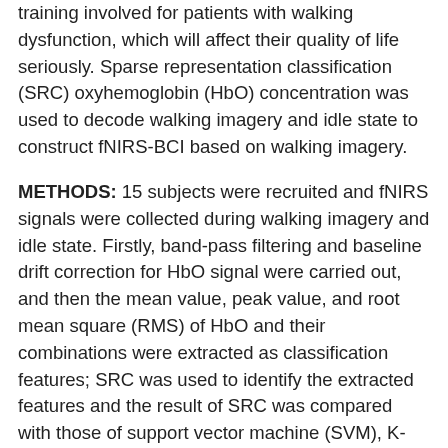training involved for patients with walking dysfunction, which will affect their quality of life seriously. Sparse representation classification (SRC) oxyhemoglobin (HbO) concentration was used to decode walking imagery and idle state to construct fNIRS-BCI based on walking imagery.
METHODS: 15 subjects were recruited and fNIRS signals were collected during walking imagery and idle state. Firstly, band-pass filtering and baseline drift correction for HbO signal were carried out, and then the mean value, peak value, and root mean square (RMS) of HbO and their combinations were extracted as classification features; SRC was used to identify the extracted features and the result of SRC was compared with those of support vector machine (SVM), K-Nearest Neighbor (KNN), linear discriminant analysis (LDA), and logistic regression (LR).